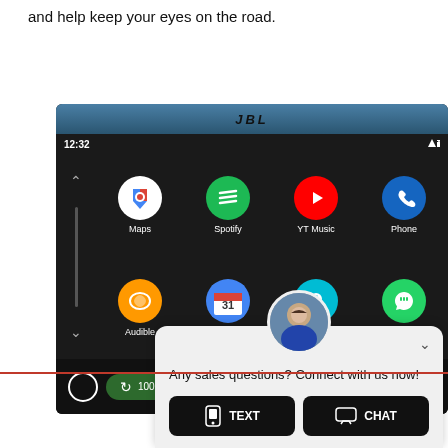and help keep your eyes on the road.
[Figure (screenshot): Android Auto interface on a JBL car screen showing apps: Maps, Spotify, YT Music, Phone, Audible, Calendar, Waze, WhatsApp. Bottom navigation bar shows 1000 m Charleston Rd. direction. A chat widget overlays the bottom with a person avatar, message 'Any sales questions? Connect with us now!' and TEXT and CHAT buttons.]